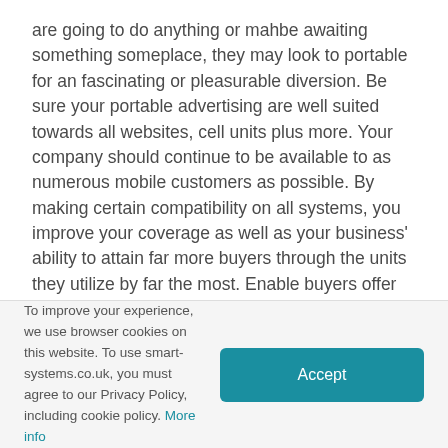are going to do anything or mahbe awaiting something someplace, they may look to portable for an fascinating or pleasurable diversion. Be sure your portable advertising are well suited towards all websites, cell units plus more. Your company should continue to be available to as numerous mobile customers as possible. By making certain compatibility on all systems, you improve your coverage as well as your business' ability to attain far more buyers through the units they utilize by far the most. Enable buyers offer you opinions. Some mobile online marketers have sociable only messaging, which means a buyer could not written text them back without the need of dealing with a lot of trouble. Enable your clients speak baxk to further improve the main objective of the prepare, and determine you might need too takee action in a different way. Work with a advisor. Not everyone is highly smart, so when you are not sso keen, it could be mot effective for you to employ
To improve your experience, we use browser cookies on this website. To use smart-systems.co.uk, you must agree to our Privacy Policy, including cookie policy. More info